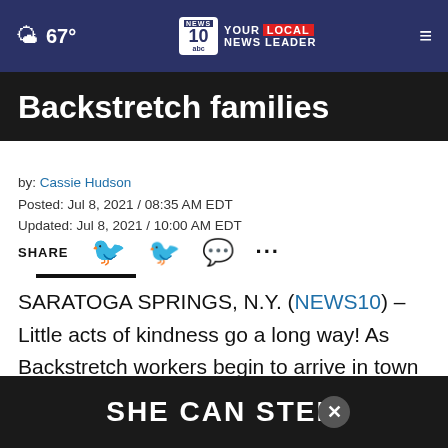67° NEWS10 YOUR LOCAL NEWS LEADER
Backstretch families
by: Cassie Hudson
Posted: Jul 8, 2021 / 08:35 AM EDT
Updated: Jul 8, 2021 / 10:00 AM EDT
SHARE
SARATOGA SPRINGS, N.Y. (NEWS10) – Little acts of kindness go a long way! As Backstretch workers begin to arrive in town to prepare for the start of the Saratoga Summer Meet next Thursday, one group of volunteers they
[Figure (screenshot): SHE CAN STEM advertisement overlay banner at bottom of page]